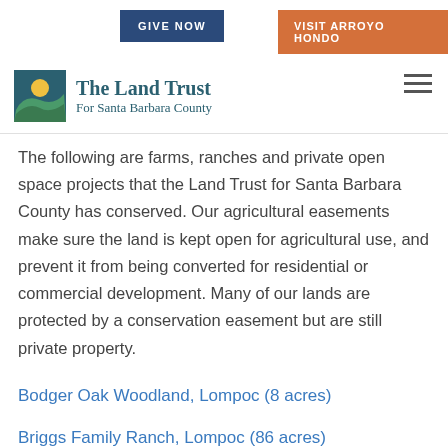GIVE NOW | VISIT ARROYO HONDO
[Figure (logo): The Land Trust For Santa Barbara County logo with mountain/sun icon]
The following are farms, ranches and private open space projects that the Land Trust for Santa Barbara County has conserved. Our agricultural easements make sure the land is kept open for agricultural use, and prevent it from being converted for residential or commercial development. Many of our lands are protected by a conservation easement but are still private property.
Bodger Oak Woodland, Lompoc (8 acres)
Briggs Family Ranch, Lompoc (86 acres)